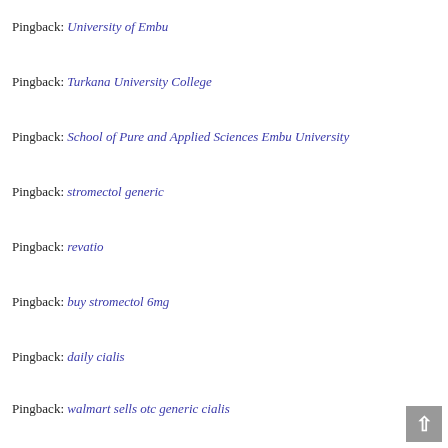Pingback: University of Embu
Pingback: Turkana University College
Pingback: School of Pure and Applied Sciences Embu University
Pingback: stromectol generic
Pingback: revatio
Pingback: buy stromectol 6mg
Pingback: daily cialis
Pingback: walmart sells otc generic cialis